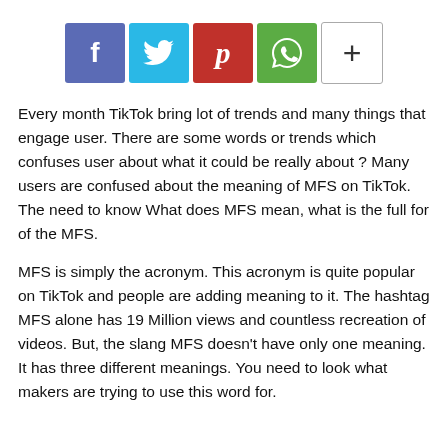[Figure (other): Row of social share buttons: Facebook (blue-purple), Twitter (light blue), Pinterest (red), WhatsApp (green), and a More (+) button (white with border)]
Every month TikTok bring lot of trends and many things that engage user. There are some words or trends which confuses user about what it could be really about ? Many users are confused about the meaning of MFS on TikTok. The need to know What does MFS mean, what is the full for of the MFS.
MFS is simply the acronym. This acronym is quite popular on TikTok and people are adding meaning to it. The hashtag MFS alone has 19 Million views and countless recreation of videos. But, the slang MFS doesn't have only one meaning. It has three different meanings. You need to look what makers are trying to use this word for.